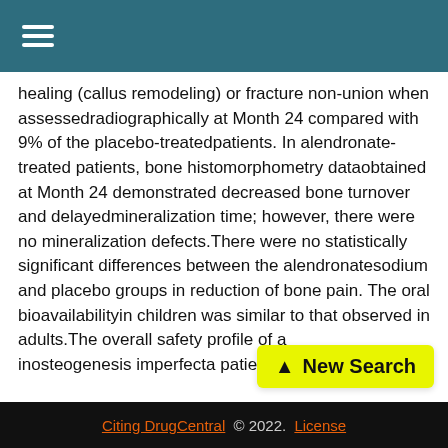☰ (hamburger menu)
healing (callus remodeling) or fracture non-union when assessedradiographically at Month 24 compared with 9% of the placebo-treatedpatients. In alendronate-treated patients, bone histomorphometry dataobtained at Month 24 demonstrated decreased bone turnover and delayedmineralization time; however, there were no mineralization defects.There were no statistically significant differences between the alendronatesodium and placebo groups in reduction of bone pain. The oral bioavailabilityin children was similar to that observed in adults.The overall safety profile of a[lendronate in] inosteogenesis imperfecta patients [was generally]
[Figure (other): Yellow 'New Search' button with upward arrow icon]
Citing DrugCentral © 2022. License